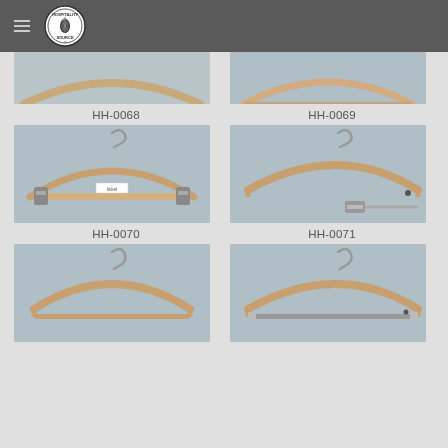Hospitality Source
[Figure (photo): Partial top view of wooden hanger HH-0068, cropped]
[Figure (photo): Partial top view of wooden hanger HH-0069, cropped]
HH-0068
HH-0069
[Figure (photo): Wooden hanger HH-0070 with metal clips]
[Figure (photo): Wooden suit hanger HH-0071 with side clip bar]
HH-0070
HH-0071
[Figure (photo): Wooden suit hanger without bar, HH-0070 style]
[Figure (photo): Wooden suit hanger with bottom bar, HH-0071 style]